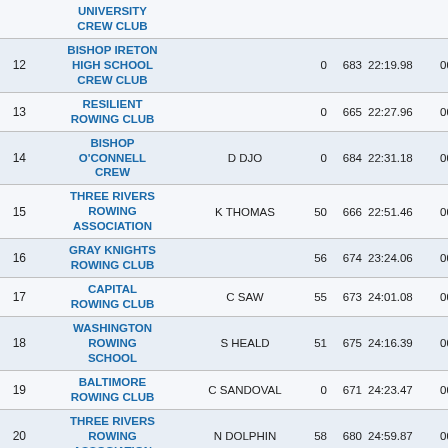| # | Club | Cox | Pts | Entry | Time | Penalty |  |
| --- | --- | --- | --- | --- | --- | --- | --- |
|  | UNIVERSITY CREW CLUB |  |  |  |  |  |  |
| 12 | BISHOP IRETON HIGH SCHOOL CREW CLUB |  | 0 | 683 | 22:19.98 | 00:00.00 |  |
| 13 | RESILIENT ROWING CLUB |  | 0 | 665 | 22:27.96 | 00:00.00 |  |
| 14 | BISHOP O'CONNELL CREW | D DJO | 0 | 684 | 22:31.18 | 00:00.00 |  |
| 15 | THREE RIVERS ROWING ASSOCIATION | K THOMAS | 50 | 666 | 22:51.46 | 00:00.00 |  |
| 16 | GRAY KNIGHTS ROWING CLUB |  | 56 | 674 | 23:24.06 | 00:00.00 |  |
| 17 | CAPITAL ROWING CLUB | C SAW | 55 | 673 | 24:01.08 | 00:00.00 |  |
| 18 | WASHINGTON ROWING SCHOOL | S HEALD | 51 | 675 | 24:16.39 | 00:00.00 |  |
| 19 | BALTIMORE ROWING CLUB | C SANDOVAL | 0 | 671 | 24:23.47 | 00:00.00 |  |
| 20 | THREE RIVERS ROWING ASSOCIATION | N DOLPHIN | 58 | 680 | 24:59.87 | 00:00.00 |  |
| 21 | GREAT BRIDGE HIGH SCHOOL | E COOPER | 14 | 672 | 26:10.68 | 00:00.00 |  |
| 22 | BISHOP | D DJO | 0 | 685 | 29:16.04 | 00:00.00 |  |